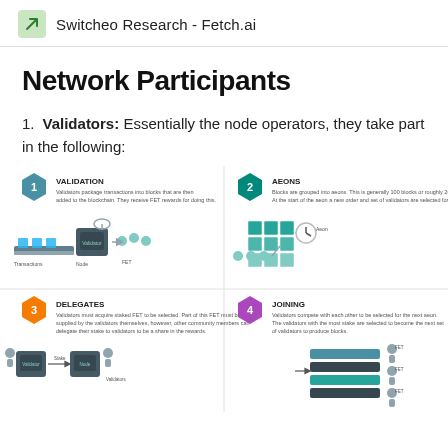Switcheo Research - Fetch.ai
Network Participants
Validators: Essentially the node operators, they take part in the following:
[Figure (infographic): Four-panel infographic showing validator roles: 1. VALIDATION - Validators package transactions into blocks and receive FET rewards. 2. AEONS - Blocks are grouped into aeons (~100 blocks), validators are selected for the next aeon. 3. DELEGATES - Validators must acquire staked FET; community members can delegate stake to validators. 4. JOINING - Validators compete with each other to be selected for the next aeon; top validators become the next set.]